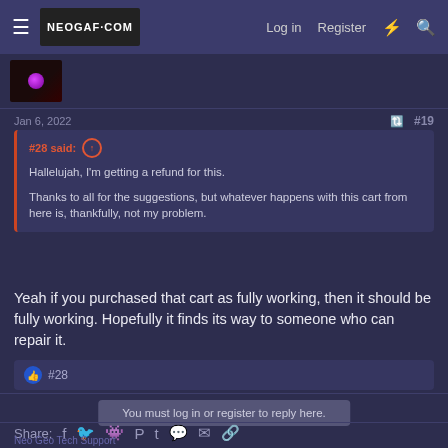NEOGAF.COM  Log in  Register
Jan 6, 2022  #19
#28 said: ↑
Hallelujah, I'm getting a refund for this.
Thanks to all for the suggestions, but whatever happens with this cart from here is, thankfully, not my problem.
Yeah if you purchased that cart as fully working, then it should be fully working. Hopefully it finds its way to someone who can repair it.
👍 #28
You must log in or register to reply here.
Share:
Neo Geo Tech Support